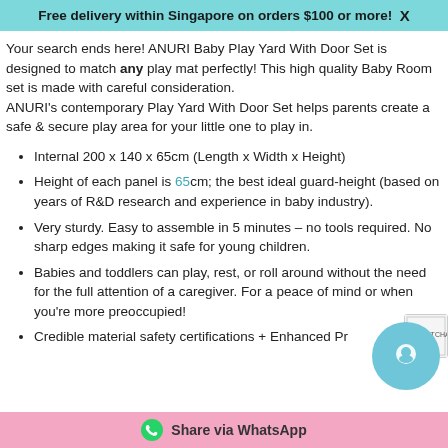Free delivery within Singapore on orders $100 or more!   X
Your search ends here! ANURI Baby Play Yard With Door Set is designed to match any play mat perfectly! This high quality Baby Room set is made with careful consideration.
ANURI's contemporary Play Yard With Door Set helps parents create a safe & secure play area for your little one to play in.
Internal 200 x 140 x 65cm (Length x Width x Height)
Height of each panel is 65cm; the best ideal guard-height (based on years of R&D research and experience in baby industry).
Very sturdy. Easy to assemble in 5 minutes – no tools required. No sharp edges making it safe for young children.
Babies and toddlers can play, rest, or roll around without the need for the full attention of a caregiver. For a peace of mind or when you're more preoccupied!
Credible material safety certifications + Enhanced Pr...
Share via WhatsApp